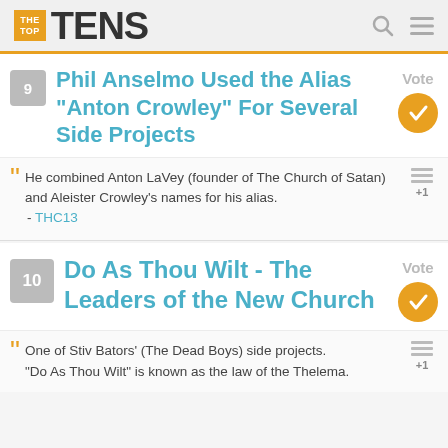THE TOP TENS
9 Phil Anselmo Used the Alias "Anton Crowley" For Several Side Projects
He combined Anton LaVey (founder of The Church of Satan) and Aleister Crowley's names for his alias. - THC13
10 Do As Thou Wilt - The Leaders of the New Church
One of Stiv Bators' (The Dead Boys) side projects. "Do As Thou Wilt" is known as the law of the Thelema.